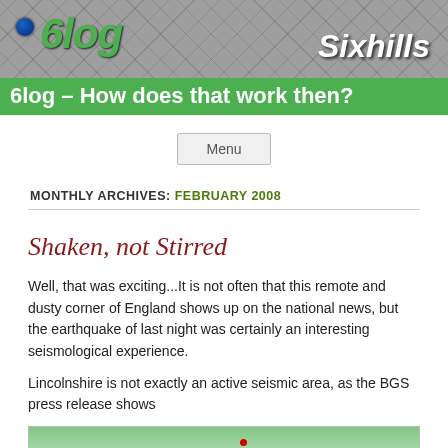[Figure (illustration): 6log blog header banner with green tinted grid/mesh background, site name '6log' in italic green on left with globe icon, 'Sixhills' in white italic on right]
6log – How does that work then?
Menu
MONTHLY ARCHIVES: FEBRUARY 2008
Shaken, not Stirred
Well, that was exciting...It is not often that this remote and dusty corner of England shows up on the national news, but the earthquake of last night was certainly an interesting seismological experience.
Lincolnshire is not exactly an active seismic area, as the BGS press release shows
[Figure (map): Partial map image showing green terrain with a red dot marking earthquake location]